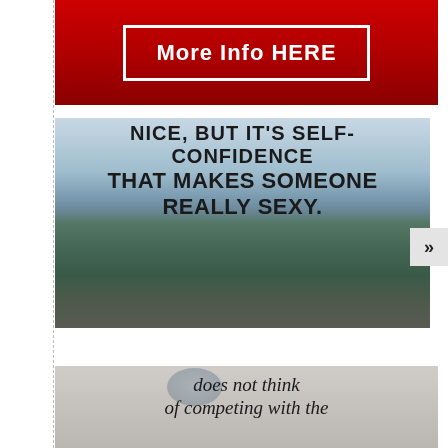[Figure (infographic): Red banner with white border button containing text 'More Info HERE']
[Figure (infographic): Motivational quote image over outdoor mountain scene with couple. Text reads: 'NICE, BUT IT'S SELF-CONFIDENCE THAT MAKES SOMEONE REALLY SEXY.' Arrow navigation button to the right.]
[Figure (infographic): Partial image at bottom showing cursive text: 'does not think of competing with the']